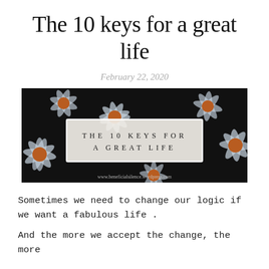The 10 keys for a great life
February 22, 2020
[Figure (photo): Dark background photo of daisy flowers with a white bordered rectangle overlay containing text 'THE 10 KEYS FOR A GREAT LIFE' in spaced capital letters, and watermark 'www.beneficialsilence.wordpress.com' at the bottom.]
Sometimes we need to change our logic if we want a fabulous life .
And the more we accept the change, the more